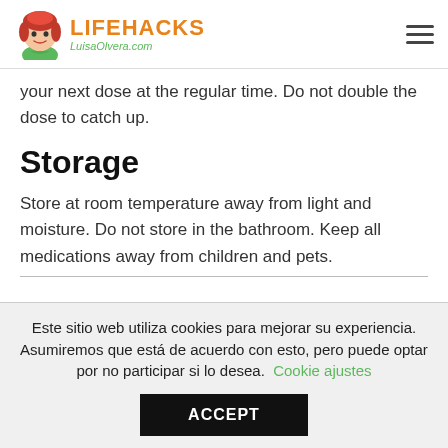LIFEHACKS LuisaOlvera.com
your next dose at the regular time. Do not double the dose to catch up.
Storage
Store at room temperature away from light and moisture. Do not store in the bathroom. Keep all medications away from children and pets.
Este sitio web utiliza cookies para mejorar su experiencia. Asumiremos que está de acuerdo con esto, pero puede optar por no participar si lo desea.  Cookie ajustes
ACCEPT